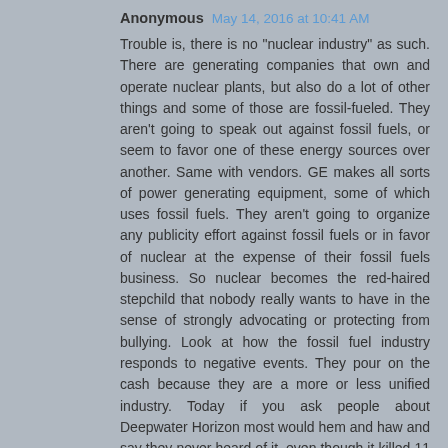Anonymous May 14, 2016 at 10:41 AM
Trouble is, there is no "nuclear industry" as such. There are generating companies that own and operate nuclear plants, but also do a lot of other things and some of those are fossil-fueled. They aren't going to speak out against fossil fuels, or seem to favor one of these energy sources over another. Same with vendors. GE makes all sorts of power generating equipment, some of which uses fossil fuels. They aren't going to organize any publicity effort against fossil fuels or in favor of nuclear at the expense of their fossil fuels business. So nuclear becomes the red-haired stepchild that nobody really wants to have in the sense of strongly advocating or protecting from bullying. Look at how the fossil fuel industry responds to negative events. They pour on the cash because they are a more or less unified industry. Today if you ask people about Deepwater Horizon most would hem and haw and say they never heard of it, even though it killed 11 people and spilled almost 5 million barrels of crude into the environment. And almost certainly the average person never heard of Ixtoc 1 (3 million barrels spilled). Or the San Juan Ixhuatepec LNG disaster, which incinerated over 500 people and left another 7000 with